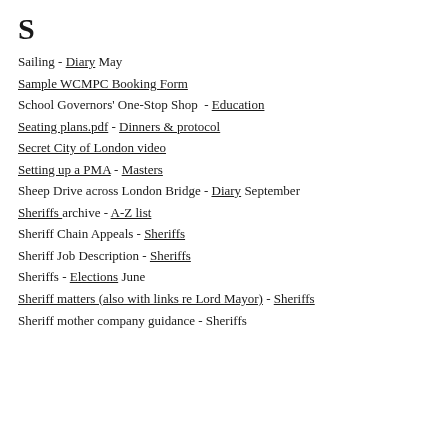S
Sailing - Diary May
Sample WCMPC Booking Form
School Governors' One-Stop Shop  - Education
Seating plans.pdf - Dinners & protocol
Secret City of London video
Setting up a PMA - Masters
Sheep Drive across London Bridge - Diary September
Sheriffs archive - A-Z list
Sheriff Chain Appeals - Sheriffs
Sheriff Job Description - Sheriffs
Sheriffs - Elections June
Sheriff matters (also with links re Lord Mayor) - Sheriffs
Sheriff mother company guidance - Sheriffs